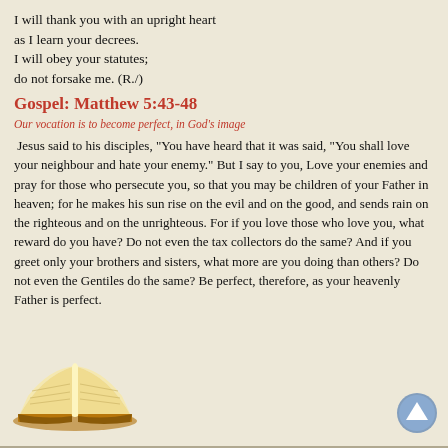I will thank you with an upright heart
as I learn your decrees.
I will obey your statutes;
do not forsake me. (R./)
Gospel: Matthew 5:43-48
Our vocation is to become perfect, in God's image
Jesus said to his disciples, "You have heard that it was said, "You shall love your neighbour and hate your enemy." But I say to you, Love your enemies and pray for those who persecute you, so that you may be children of your Father in heaven; for he makes his sun rise on the evil and on the good, and sends rain on the righteous and on the unrighteous. For if you love those who love you, what reward do you have? Do not even the tax collectors do the same? And if you greet only your brothers and sisters, what more are you doing than others? Do not even the Gentiles do the same? Be perfect, therefore, as your heavenly Father is perfect.
[Figure (illustration): Open Bible book illustration]
[Figure (illustration): Blue circular up-arrow navigation button]